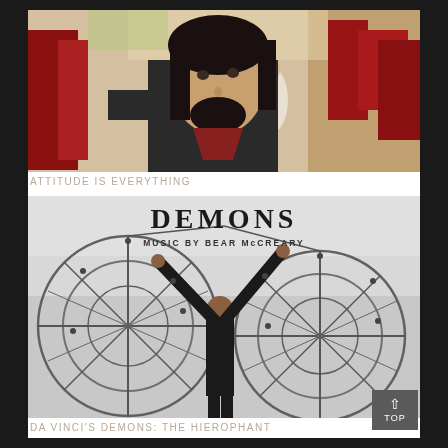[Figure (photo): A man with long dark hair and a beard wearing a dark medieval-style costume, in a crowded outdoor festival or event setting with people in red costumes in the background.]
ATTITUDE IS EVERYTHING
[Figure (photo): Album cover art for Da Vinci's Demons: The Hierophant. Text reads 'DEMONS / MUSIC BY BEAR McCREARY'. Shows a man in dark clothing with arms raised, framed by large circular wire/metal structures resembling wings, against a grey sky background.]
DA VINCI'S DEMONS: THE HIEROPHANT